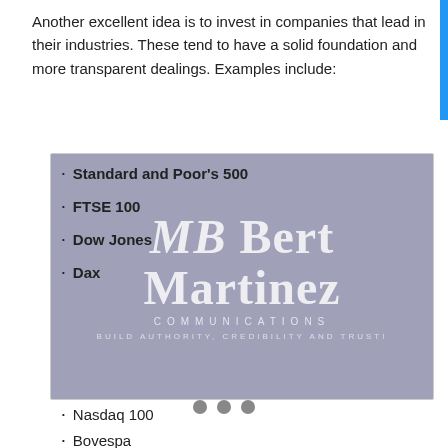Another excellent idea is to invest in companies that lead in their industries. These tend to have a solid foundation and more transparent dealings. Examples include:
[Figure (logo): MB Bert Martinez Communications logo — gray/blue background with large white serif text 'MB Bert Martinez', subtitle 'Communications', tagline 'Build Authority, Credibility and Trust!']
Standard and Poor's 500
FTSE 100
Dow Jones
Dax
Nasdaq 100
Bovespa
My Amazon Picks
1 people currently viewing ...
Verified by Provely